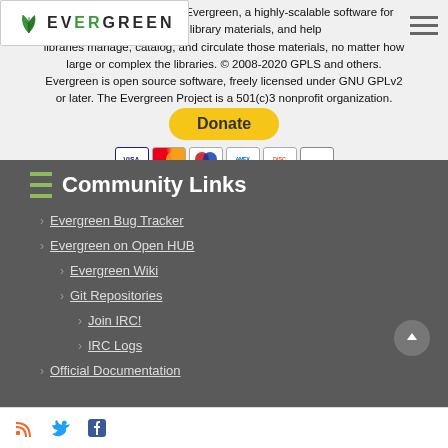This is the project site for Evergreen, a highly-scalable software for patrons find library materials, and help libraries manage, catalog, and circulate those materials, no matter how large or complex the libraries. © 2008-2020 GPLS and others. Evergreen is open source software, freely licensed under GNU GPLv2 or later. The Evergreen Project is a 501(c)3 nonprofit organization.
[Figure (logo): Evergreen logo with stylized green palm/fern leaf and text EVERGREEN]
[Figure (other): Hamburger menu icon (three horizontal lines)]
[Figure (other): Yellow PayPal Donate button]
[Figure (other): Payment icons: Visa, Mastercard, Maestro, American Express, Discover, and another card]
Community Links
Evergreen Bug Tracker
Evergreen on Open HUB
Evergreen Wiki
Git Repositories
Join IRC!
IRC Logs
Official Documentation
Social media icons: RSS, Twitter, Facebook